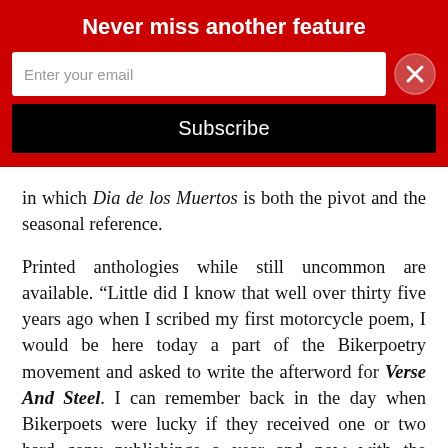Never miss another feature
[Figure (screenshot): Email subscription form with an input field labeled 'Enter your email', a close button (X circle), and a black Subscribe button]
in which Dia de los Muertos is both the pivot and the seasonal reference.
Printed anthologies while still uncommon are available. “Little did I know that well over thirty five years ago when I scribed my first motorcycle poem, I would be here today a part of the Bikerpoetry movement and asked to write the afterword for Verse And Steel. I can remember back in the day when Bikerpoets were lucky if they received one or two hard copy publishings a year and now with the support of monthly motorcycle magazines and newspapers, as well as